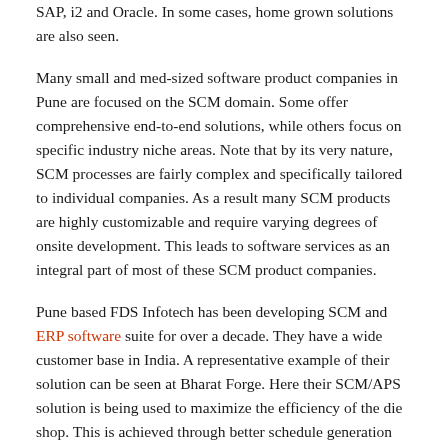SAP, i2 and Oracle. In some cases, home grown solutions are also seen.
Many small and med-sized software product companies in Pune are focused on the SCM domain. Some offer comprehensive end-to-end solutions, while others focus on specific industry niche areas. Note that by its very nature, SCM processes are fairly complex and specifically tailored to individual companies. As a result many SCM products are highly customizable and require varying degrees of onsite development. This leads to software services as an integral part of most of these SCM product companies.
Pune based FDS Infotech has been developing SCM and ERP software suite for over a decade. They have a wide customer base in India. A representative example of their solution can be seen at Bharat Forge. Here their SCM/APS solution is being used to maximize the efficiency of the die shop. This is achieved through better schedule generation that